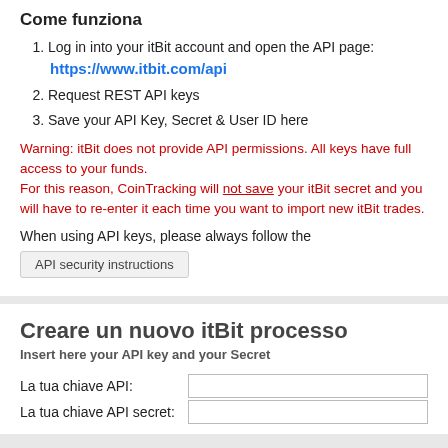Come funziona
Log in into your itBit account and open the API page: https://www.itbit.com/api
Request REST API keys
Save your API Key, Secret & User ID here
Warning: itBit does not provide API permissions. All keys have full access to your funds.
For this reason, CoinTracking will not save your itBit secret and you will have to re-enter it each time you want to import new itBit trades.
When using API keys, please always follow the
API security instructions
Creare un nuovo itBit processo
Insert here your API key and your Secret
La tua chiave API:
La tua chiave API secret: